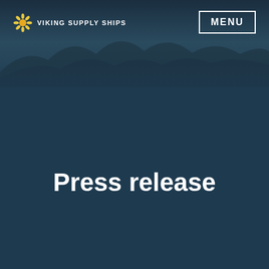[Figure (photo): Dark navy blue background with a faint scenic mountain/arctic landscape photo visible in the upper portion of the page header area]
VIKING SUPPLY SHIPS
Press release